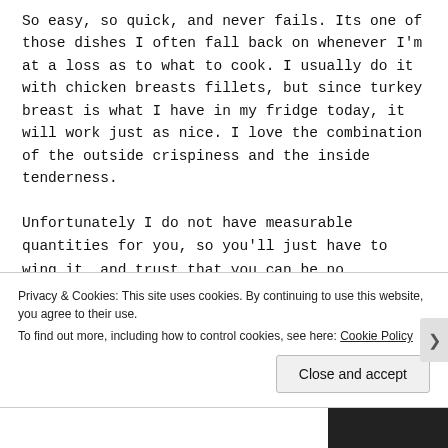So easy, so quick, and never fails. Its one of those dishes I often fall back on whenever I'm at a loss as to what to cook. I usually do it with chicken breasts fillets, but since turkey breast is what I have in my fridge today, it will work just as nice. I love the combination of the outside crispiness and the inside tenderness.

Unfortunately I do not have measurable quantities for you, so you'll just have to wing it, and trust that you can be no
Privacy & Cookies: This site uses cookies. By continuing to use this website, you agree to their use.
To find out more, including how to control cookies, see here: Cookie Policy
Close and accept